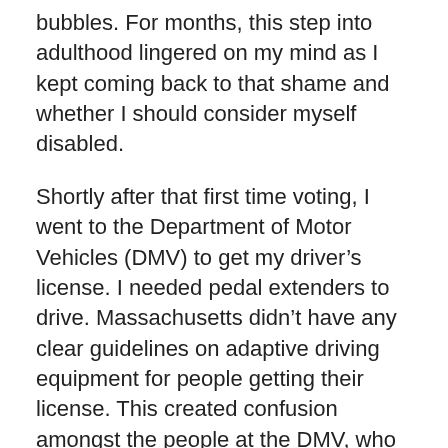bubbles. For months, this step into adulthood lingered on my mind as I kept coming back to that shame and whether I should consider myself disabled.
Shortly after that first time voting, I went to the Department of Motor Vehicles (DMV) to get my driver's license. I needed pedal extenders to drive. Massachusetts didn't have any clear guidelines on adaptive driving equipment for people getting their license. This created confusion amongst the people at the DMV, who ended up turning me away from my driving test the first time, claiming my adaptive equipment was “unsafe.” (It wasn't.) It took another week and a call from the medical office of the DMV (who I had already been to see before being